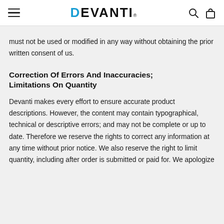DEVANTI
must not be used or modified in any way without obtaining the prior written consent of us.
Correction Of Errors And Inaccuracies; Limitations On Quantity
Devanti makes every effort to ensure accurate product descriptions. However, the content may contain typographical, technical or descriptive errors; and may not be complete or up to date. Therefore we reserve the rights to correct any information at any time without prior notice. We also reserve the right to limit quantity, including after order is submitted or paid for. We apologize